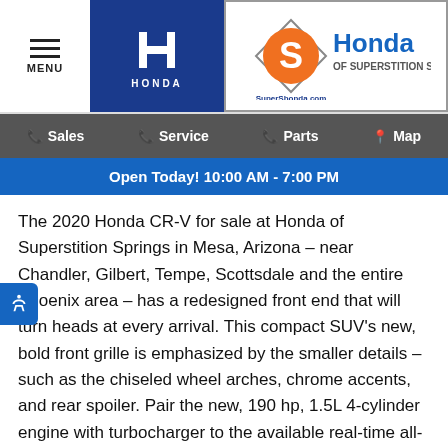MENU | HONDA | Honda of Superstition Springs
Sales | Service | Parts | Map
Open Today! 10:00 AM - 7:00 PM
The 2020 Honda CR-V for sale at Honda of Superstition Springs in Mesa, Arizona – near Chandler, Gilbert, Tempe, Scottsdale and the entire Phoenix area – has a redesigned front end that will turn heads at every arrival. This compact SUV's new, bold front grille is emphasized by the smaller details – such as the chiseled wheel arches, chrome accents, and rear spoiler. Pair the new, 190 hp, 1.5L 4-cylinder engine with turbocharger to the available real-time all-wheel-drive with intelligent control, and you'll feel prepared for whatever the road has in store for you. Carrying all your luggage or running all your shopping errands is a breeze, thanks to the 75.8 cubic feet of cargo